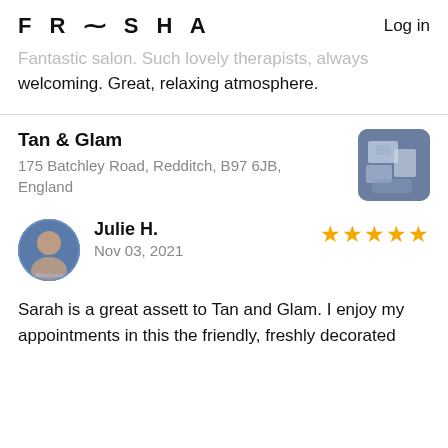FRESHA  Log in
Fantastic salon. Such lovely therapists, always welcoming. Great, relaxing atmosphere.
Tan & Glam
175 Batchley Road, Redditch, B97 6JB, England
[Figure (photo): Thumbnail photo for Tan & Glam salon]
[Figure (photo): Circular avatar photo of reviewer Julie H.]
Julie H.
Nov 03, 2021
[Figure (other): 5 gold star rating icons]
Sarah is a great assett to Tan and Glam. I enjoy my appointments in this the friendly, freshly decorated